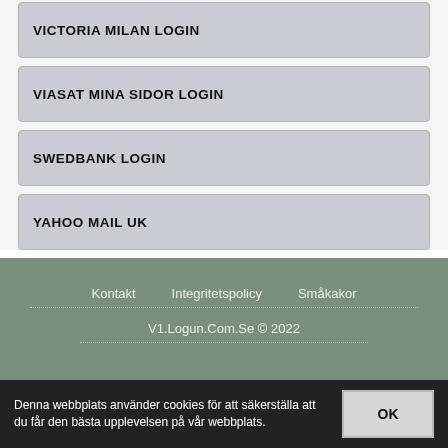VICTORIA MILAN LOGIN
VIASAT MINA SIDOR LOGIN
SWEDBANK LOGIN
YAHOO MAIL UK
Kontakt   Integritetspolicy   Småkakor
V1.Logun.Com.Se © 2022
Denna webbplats använder cookies för att säkerställa att du får den bästa upplevelsen på vår webbplats.